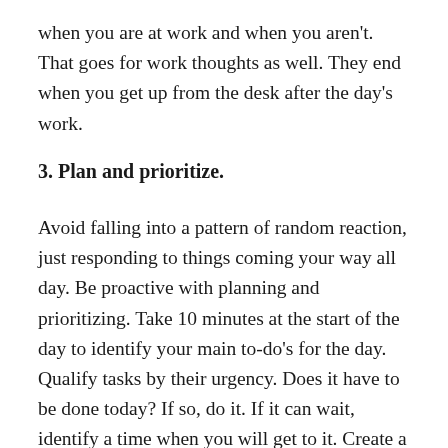when you are at work and when you aren't. That goes for work thoughts as well. They end when you get up from the desk after the day's work.
3. Plan and prioritize.
Avoid falling into a pattern of random reaction, just responding to things coming your way all day. Be proactive with planning and prioritizing. Take 10 minutes at the start of the day to identify your main to-do's for the day. Qualify tasks by their urgency. Does it have to be done today? If so, do it. If it can wait, identify a time when you will get to it. Create a next physical action for items on the to-do list.
4. Cut distractions.